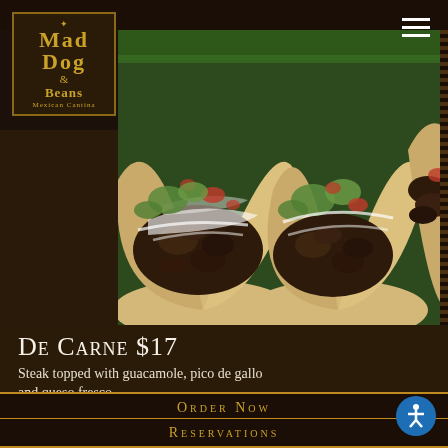[Figure (logo): Mad Dog & Beans Mexican Cantina logo — ornate gold text on dark brown background with border]
[Figure (photo): Close-up photo of three steak tacos in flour tortillas topped with guacamole, pico de gallo, and queso fresco on a green plate]
De Carne $17
Steak topped with guacamole, pico de gallo and queso fresco.
Order Now
Reservations